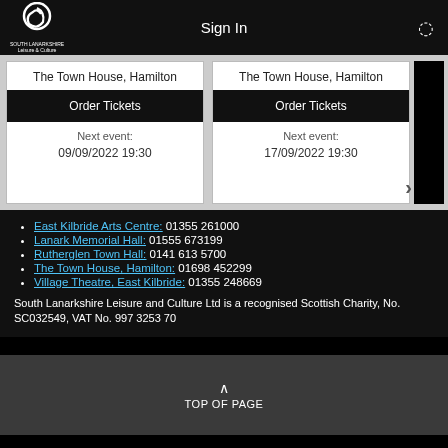Sign In
[Figure (screenshot): South Lanarkshire Leisure and Culture logo with spiral graphic]
The Town House, Hamilton | Order Tickets | Next event: 09/09/2022 19:30
The Town House, Hamilton | Order Tickets | Next event: 17/09/2022 19:30
East Kilbride Arts Centre: 01355 261000
Lanark Memorial Hall: 01555 673199
Rutherglen Town Hall: 0141 613 5700
The Town House, Hamilton: 01698 452299
Village Theatre, East Kilbride: 01355 248669
South Lanarkshire Leisure and Culture Ltd is a recognised Scottish Charity, No. SC032549, VAT No. 997 3253 70
TOP OF PAGE